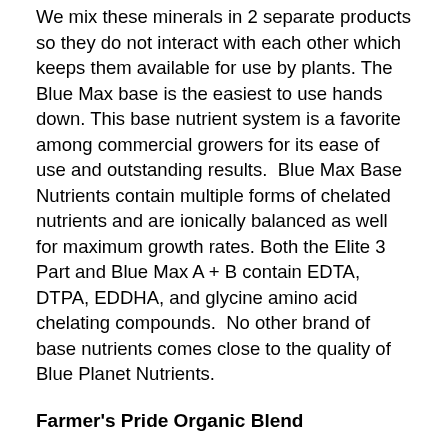We mix these minerals in 2 separate products so they do not interact with each other which keeps them available for use by plants. The Blue Max base is the easiest to use hands down. This base nutrient system is a favorite among commercial growers for its ease of use and outstanding results.  Blue Max Base Nutrients contain multiple forms of chelated nutrients and are ionically balanced as well for maximum growth rates. Both the Elite 3 Part and Blue Max A + B contain EDTA, DTPA, EDDHA, and glycine amino acid chelating compounds.  No other brand of base nutrients comes close to the quality of Blue Planet Nutrients.
Farmer's Pride Organic Blend
Farmer's Pride is a 3 part base nutrient package that derives a large portion of its nutrient content from organic materials. Farmer's Pride Organic